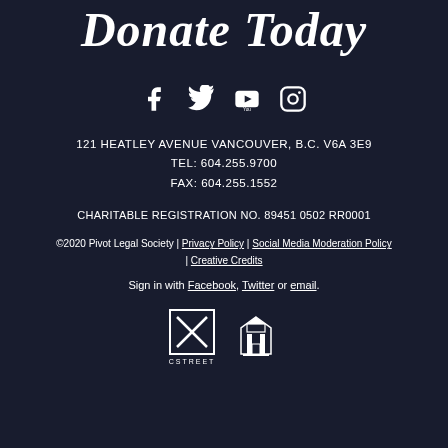Donate Today
[Figure (infographic): Social media icons: Facebook, Twitter, YouTube, Instagram]
121 HEATLEY AVENUE VANCOUVER, B.C. V6A 3E9
TEL: 604.255.9700
FAX: 604.255.1552
CHARITABLE REGISTRATION NO. 89451 0502 RR0001
©2020 Pivot Legal Society | Privacy Policy | Social Media Moderation Policy | Creative Credits
Sign in with Facebook, Twitter or email.
[Figure (logo): CSTREET logo (X in box with CSTREET text) and a building/city icon logo]